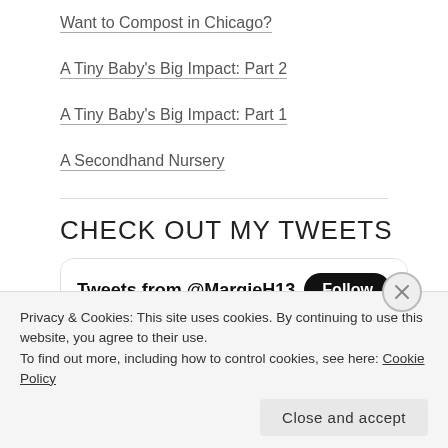Want to Compost in Chicago?
A Tiny Baby's Big Impact: Part 2
A Tiny Baby's Big Impact: Part 1
A Secondhand Nursery
CHECK OUT MY TWEETS
[Figure (screenshot): Twitter widget showing 'Tweets from @MargieH13' with a Follow button and 'Marguerite Huber Retweeted' below]
Privacy & Cookies: This site uses cookies. By continuing to use this website, you agree to their use.
To find out more, including how to control cookies, see here: Cookie Policy
Close and accept